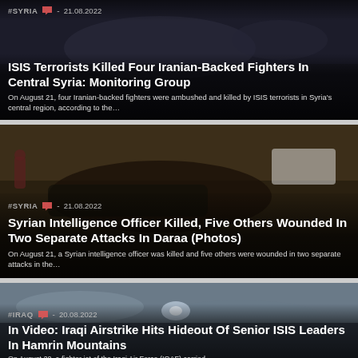#SYRIA  -  21.08.2022
ISIS Terrorists Killed Four Iranian-Backed Fighters In Central Syria: Monitoring Group
On August 21, four Iranian-backed fighters were ambushed and killed by ISIS terrorists in Syria's central region, according to the…
#SYRIA  -  21.08.2022
Syrian Intelligence Officer Killed, Five Others Wounded In Two Separate Attacks In Daraa (Photos)
On August 21, a Syrian intelligence officer was killed and five others were wounded in two separate attacks in the…
#IRAQ  -  20.08.2022
In Video: Iraqi Airstrike Hits Hideout Of Senior ISIS Leaders In Hamrin Mountains
On August 20, a fighter jet of the Iraqi Air Force (IQAF) carried…